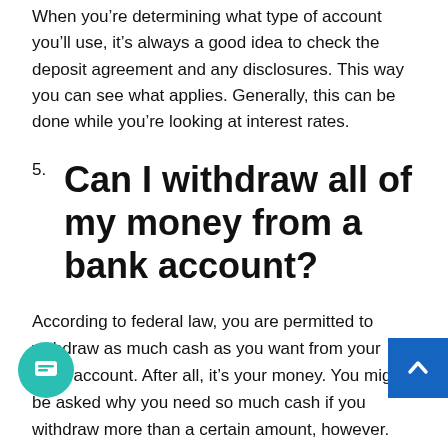When you're determining what type of account you'll use, it's always a good idea to check the deposit agreement and any disclosures. This way you can see what applies. Generally, this can be done while you're looking at interest rates.
5. Can I withdraw all of my money from a bank account?
According to federal law, you are permitted to withdraw as much cash as you want from your bank account. After all, it's your money. You might be asked why you need so much cash if you withdraw more than a certain amount, however. Also, the withdrawal will probably be reported to Uncle Sam.
There are some other considerations as well. For example, if you withdraw a million bucks, your local branch might not have